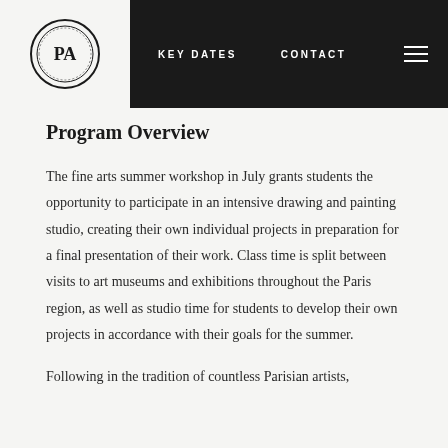KEY DATES  CONTACT
Program Overview
The fine arts summer workshop in July grants students the opportunity to participate in an intensive drawing and painting studio, creating their own individual projects in preparation for a final presentation of their work. Class time is split between visits to art museums and exhibitions throughout the Paris region, as well as studio time for students to develop their own projects in accordance with their goals for the summer.
Following in the tradition of countless Parisian artists,